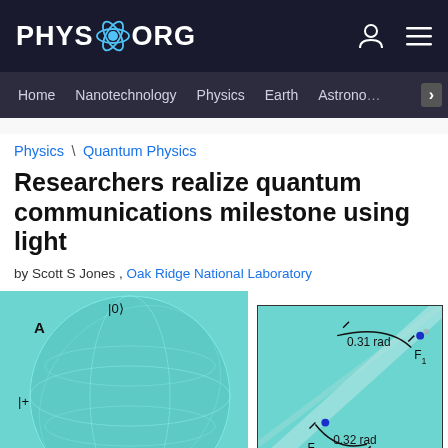PHYS.ORG
Home | Nanotechnology | Physics | Earth | Astronomy
Physics \ Quantum Physics
Researchers realize quantum communications milestone using light
by Scott S Jones , Oak Ridge National Laboratory
[Figure (illustration): Scientific diagram showing a Bloch sphere on the left with labels A, |0⟩, |+i⟩, |-⟩ and a photon beam diagram on the right showing angles 0.31 rad and 0.32 rad with labels F1 and F2]